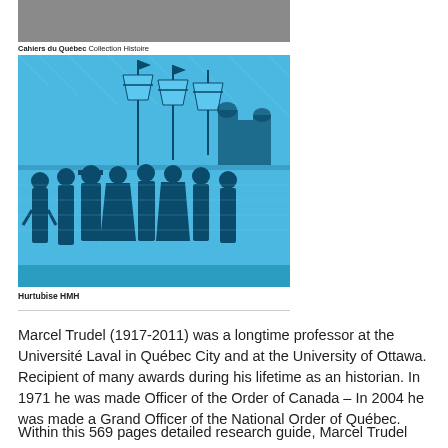[Figure (illustration): Book cover showing a gray top band, then a blue illustration of historical figures in period clothing with a large ship and buildings in the background, typical of French-Canadian historical book covers. Below the blue image is a thin blue footer bar.]
Cahiers du Québec Collection Histoire
Hurtubise HMH
Marcel Trudel (1917-2011) was a longtime professor at the Université Laval in Québec City and at the University of Ottawa. Recipient of many awards during his lifetime as an historian. In 1971 he was made Officer of the Order of Canada – In 2004 he was made a Grand Officer of the National Order of Québec.
Within this 569 pages detailed research guide, Marcel Trudel